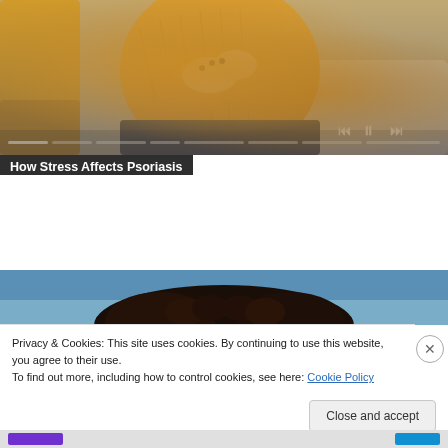[Figure (screenshot): Video player showing a person in a yellow sweater sitting on a couch, appearing to scratch or rub their arm. Video controls and progress bar visible at bottom of video.]
How Stress Affects Psoriasis
[Figure (photo): Partial image of a person with curly dark hair against a blue background, cropped at top.]
Privacy & Cookies: This site uses cookies. By continuing to use this website, you agree to their use.
To find out more, including how to control cookies, see here: Cookie Policy
Close and accept